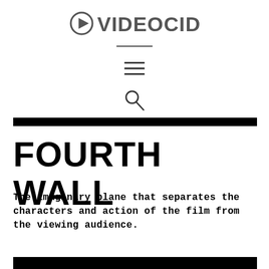VIDEOCIDE
[Figure (other): Hamburger menu icon (three horizontal lines)]
[Figure (other): Search icon (magnifying glass)]
FOURTH WALL
The imaginary plane that separates the characters and action of the film from the viewing audience.